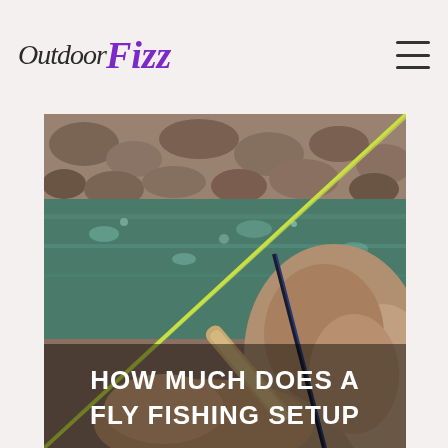Outdoor Fizz
[Figure (photo): Close-up photo of a fly fishing rod being held over a rocky river stream, with a bright yellow-green fly line visible diagonally across the image. Rocks and flowing water are visible in the background. The bottom portion of the image overlays the text 'HOW MUCH DOES A FLY FISHING SETUP']
HOW MUCH DOES A FLY FISHING SETUP